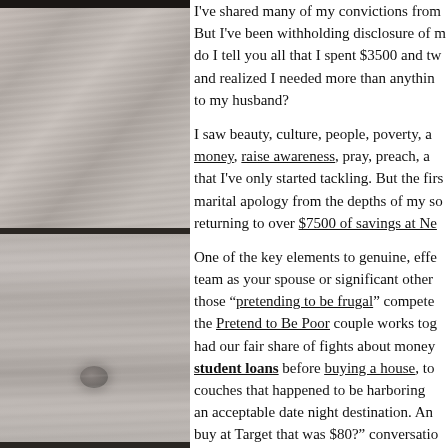[Figure (photo): Wood plank texture panels stacked vertically, gray-brown weathered wood with horizontal grain lines, separated by dark dividers. A knot is visible in the lower panel.]
I've shared many of my convictions from my trip. But I've been withholding disclosure of my own... do I tell you all that I spent $3500 and two weeks and realized I needed more than anything to apologize to my husband?

I saw beauty, culture, people, poverty, and money, raise awareness, pray, preach, and more that I've only started tackling. But the first order: a marital apology from the depths of my soul. And returning to over $7500 of savings at Ne...

One of the key elements to genuine, effective... team as your spouse or significant other... those "pretending to be frugal" compete... the Pretend to Be Poor couple works together... had our fair share of fights about money... student loans before buying a house, to... couches that happened to be harboring... an acceptable date night destination. An... buy at Target that was $80?" conversation... you're shopping for thrilling splurges like...